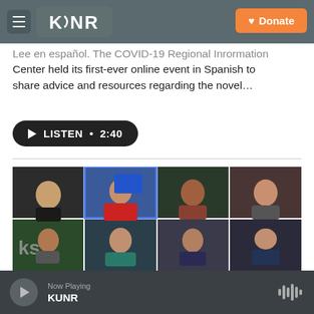KUNR — Donate
Lee en español. The COVID-19 Regional Information Center held its first-ever online event in Spanish to share advice and resources regarding the novel…
LISTEN • 2:40
[Figure (photo): Screenshot of a video conference call with 12 participants in a 4x3 grid layout, showing various community members participating in an online Spanish-language COVID-19 information event.]
Now Playing KUNR